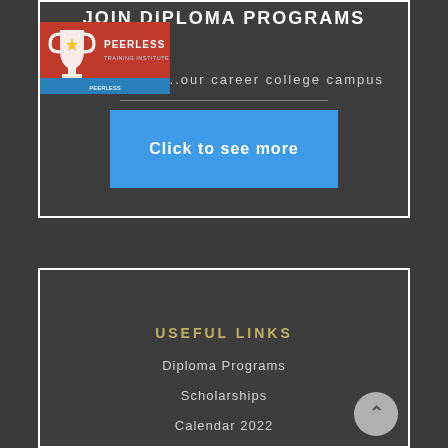JOIN DIPLOMA PROGRAMS
[Figure (logo): Peerless Training Institute logo — red badge with trophy icon and text PEERLESS TRAINING INSTITUTE with blue ribbon at bottom]
...our career college campus
Click to see more
USEFUL LINKS
Diploma Programs
Scholarships
Calendar 2022
Employee Login